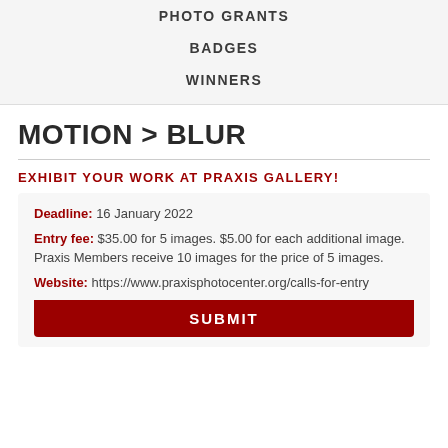PHOTO GRANTS
BADGES
WINNERS
MOTION > BLUR
EXHIBIT YOUR WORK AT PRAXIS GALLERY!
Deadline: 16 January 2022
Entry fee: $35.00 for 5 images. $5.00 for each additional image. Praxis Members receive 10 images for the price of 5 images.
Website: https://www.praxisphotocenter.org/calls-for-entry
SUBMIT